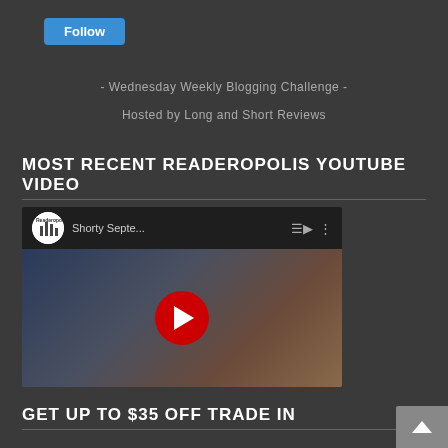[Figure (other): Blue Follow button]
- Wednesday Weekly Blogging Challenge -
Hosted by Long and Short Reviews
MOST RECENT READEROPOLIS YOUTUBE VIDEO
[Figure (screenshot): YouTube video embed thumbnail showing Shorty Septe... title with Readeropolis logo, red play button, and video content in background]
GET UP TO $35 OFF TRADE IN